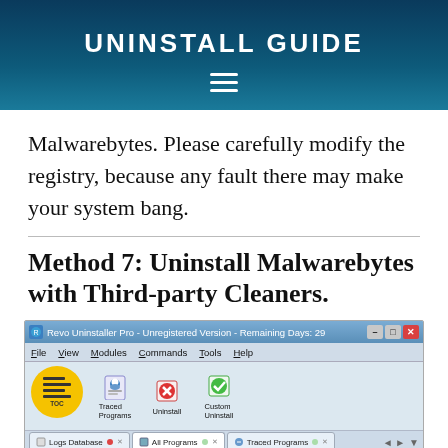UNINSTALL GUIDE
Malwarebytes. Please carefully modify the registry, because any fault there may make your system bang.
Method 7: Uninstall Malwarebytes with Third-party Cleaners.
[Figure (screenshot): Screenshot of Revo Uninstaller Pro - Unregistered Version - Remaining Days: 29. Shows File, View, Modules, Commands, Tools, Help menu. Toolbar with Traced Programs, Uninstall, Custom Uninstall buttons. Tabs: Logs Database, All Programs, Traced Programs. Search box with checkboxes for 'Show only logs compatible with Windows 7' and 'Show only 64-bit logs'. Table with columns Program Name, Program Version, Windows Bits, W. Row: All Office Converter Platinum, 6.5, 64 bit.]